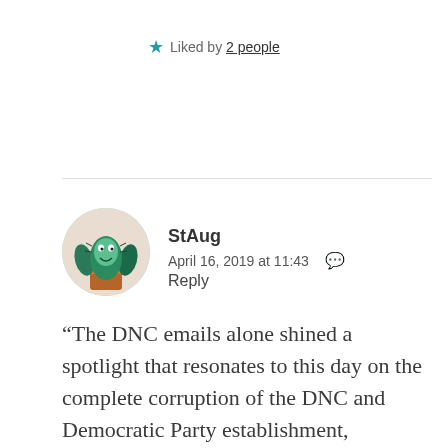Liked by 2 people
StAug
April 16, 2019 at 11:43
Reply
[Figure (illustration): Circular avatar image of a cartoon cactus character with a green face and teal/dark green cactus body in a brown pot]
“The DNC emails alone shined a spotlight that resonates to this day on the complete corruption of the DNC and Democratic Party establishment, something that was left only to speculation prior